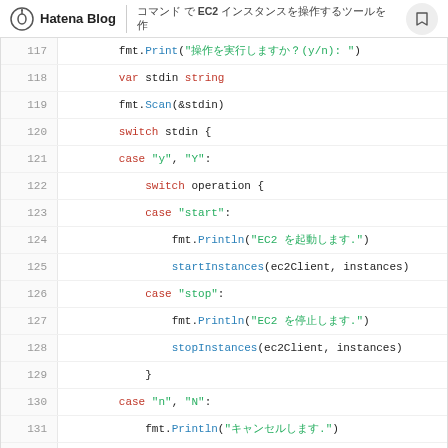Hatena Blog | EC2 ...
[Figure (screenshot): Go source code snippet showing lines 117-133 with switch/case statements for EC2 instance start/stop operations]